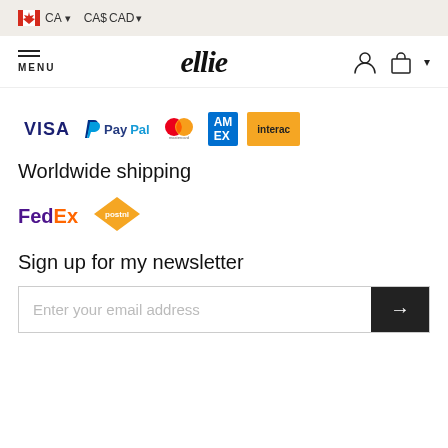CA  CA$ CAD
MENU  ellie
[Figure (logo): Payment method logos: VISA, PayPal, Mastercard, American Express, Interac]
Worldwide shipping
[Figure (logo): Shipping carrier logos: FedEx, PostNL]
Sign up for my newsletter
Enter your email address